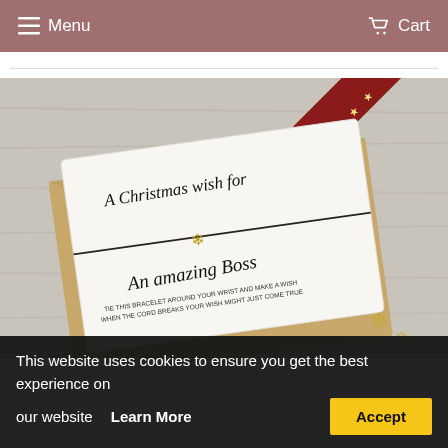Menu   Cart
[Figure (photo): A Christmas wish bracelet card reading 'A Christmas wish for An amazing Boss' with a snowflake charm on a black cord, displayed on a kraft envelope on a wooden surface, with a red ribbon with gold stars in the upper right corner and gold snowflake decorations.]
This website uses cookies to ensure you get the best experience on our website   Learn More   Accept